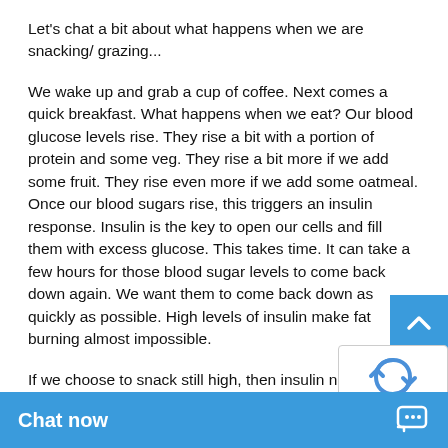Let's chat a bit about what happens when we are snacking/ grazing...
We wake up and grab a cup of coffee. Next comes a quick breakfast. What happens when we eat? Our blood glucose levels rise. They rise a bit with a portion of protein and some veg. They rise a bit more if we add some fruit. They rise even more if we add some oatmeal. Once our blood sugars rise, this triggers an insulin response. Insulin is the key to open our cells and fill them with excess glucose. This takes time. It can take a few hours for those blood sugar levels to come back down again. We want them to come back down as quickly as possible. High levels of insulin make fat burning almost impossible.
If we choose to snack still high, then insulin n